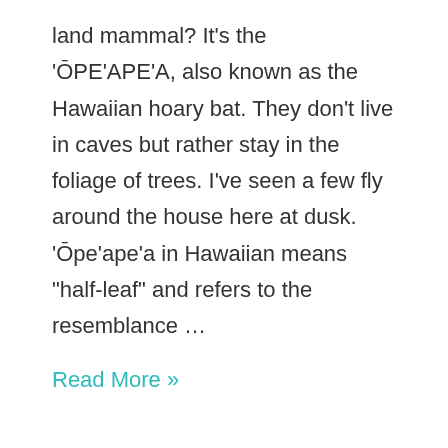land mammal? It's the 'ŌPE'APE'A, also known as the Hawaiian hoary bat. They don't live in caves but rather stay in the foliage of trees. I've seen a few fly around the house here at dusk. 'Ōpe'ape'a in Hawaiian means "half-leaf" and refers to the resemblance …
Read More »
[Figure (photo): A laptop computer displaying a space/astronomy themed wallpaper with constellations, a crescent moon, and colorful nebula background in pink, purple, and blue tones with white stars.]